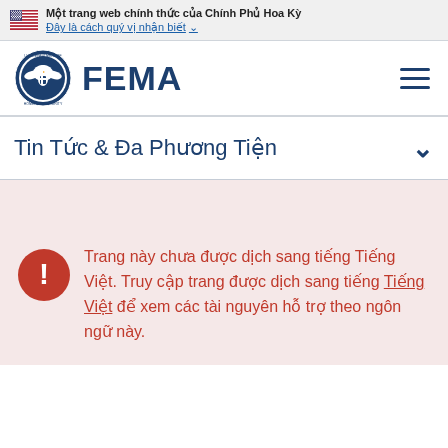Một trang web chính thức của Chính Phủ Hoa Kỳ
Đây là cách quý vị nhận biết
[Figure (logo): FEMA logo with DHS seal and FEMA text in dark blue]
Tin Tức & Đa Phương Tiện
Trang này chưa được dịch sang tiếng Tiếng Việt. Truy cập trang được dịch sang tiếng Tiếng Việt để xem các tài nguyên hỗ trợ theo ngôn ngữ này.